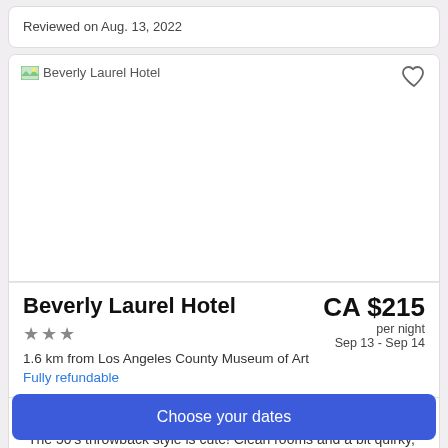Reviewed on Aug. 13, 2022
[Figure (photo): Beverly Laurel Hotel property photo placeholder image with heart/save icon in top right corner]
Beverly Laurel Hotel
CA $215 per night Sep 13 - Sep 14
★★★
1.6 km from Los Angeles County Museum of Art
Fully refundable
4.1/5 Very good! (1,000 reviews)
"The 50's throwback style is cute! Clean rooms and a bit quirky,
Choose your dates